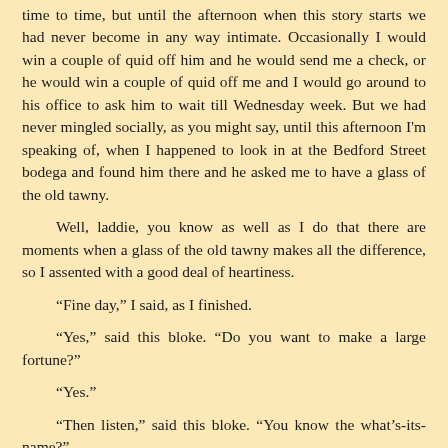time to time, but until the afternoon when this story starts we had never become in any way intimate. Occasionally I would win a couple of quid off him and he would send me a check, or he would win a couple of quid off me and I would go around to his office to ask him to wait till Wednesday week. But we had never mingled socially, as you might say, until this afternoon I'm speaking of, when I happened to look in at the Bedford Street bodega and found him there and he asked me to have a glass of the old tawny.
Well, laddie, you know as well as I do that there are moments when a glass of the old tawny makes all the difference, so I assented with a good deal of heartiness.
“Fine day,” I said, as I finished.
“Yes,” said this bloke. “Do you want to make a large fortune?”
“Yes.”
“Then listen,” said this bloke. “You know the what’s-its-name?”
“What’s that?”